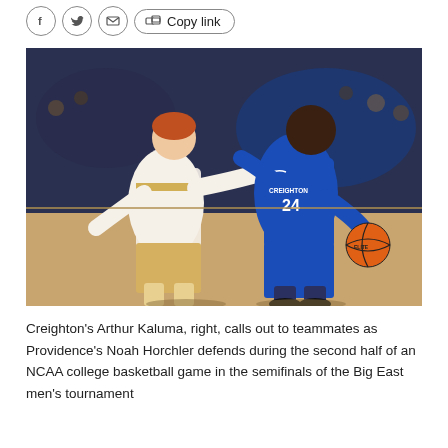[Figure (other): Share/social bar with Facebook, Twitter, email, copy link buttons]
[Figure (photo): Creighton's Arthur Kaluma (#24, blue jersey) dribbling a basketball while Providence's Noah Horchler defends during an NCAA college basketball game, second half, Big East men's tournament semifinals. Indoor arena with crowd in background.]
Creighton's Arthur Kaluma, right, calls out to teammates as Providence's Noah Horchler defends during the second half of an NCAA college basketball game in the semifinals of the Big East men's tournament